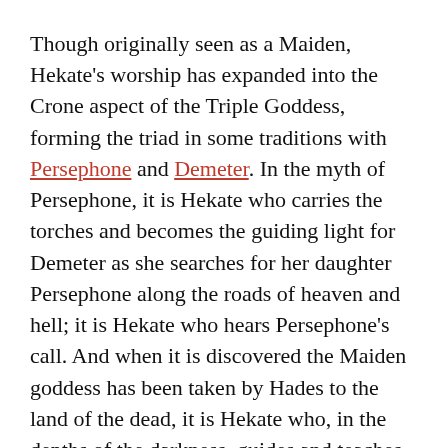Though originally seen as a Maiden, Hekate's worship has expanded into the Crone aspect of the Triple Goddess, forming the triad in some traditions with Persephone and Demeter. In the myth of Persephone, it is Hekate who carries the torches and becomes the guiding light for Demeter as she searches for her daughter Persephone along the roads of heaven and hell; it is Hekate who hears Persephone's call. And when it is discovered the Maiden goddess has been taken by Hades to the land of the dead, it is Hekate who, in the depths of the darkness, guides and teaches the skills, secrets, and mysteries necessary for Persephone to reign as Dark Maiden and Queen of the Underworld.
As she is able to easily travel from one plane of